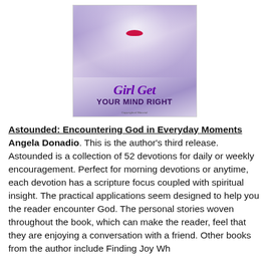[Figure (illustration): Book cover for 'Girl Get YOUR MIND RIGHT' showing a woman's face with splashes of purple and white, red lips, purple script title text and bold subtitle text.]
Astounded: Encountering God in Everyday Moments  Angela Donadio. This is the author's third release. Astounded is a collection of 52 devotions for daily or weekly encouragement. Perfect for morning devotions or anytime, each devotion has a scripture focus coupled with spiritual insight. The practical applications seem designed to help you the reader encounter God. The personal stories woven throughout the book, which can make the reader, feel that they are enjoying a conversation with a friend. Other books from the author include Finding Joy Wh…